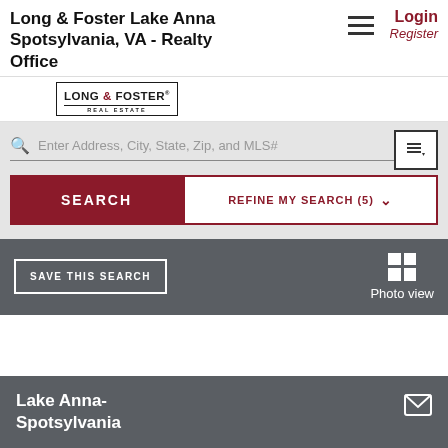Long & Foster Lake Anna Spotsylvania, VA - Realty Office
[Figure (logo): Long & Foster Real Estate logo with text in a bordered box]
Enter Address, City, State, Zip, and MLS#
SEARCH
REFINE MY SEARCH (5)
SAVE THIS SEARCH
Photo view
Lake Anna-Spotsylvania